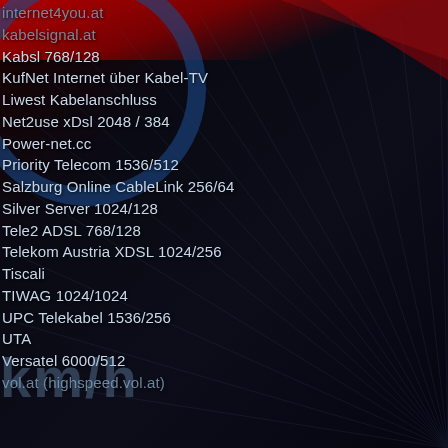[Figure (photo): Dark background photo of cables/fiber optic strands with a red stripe overlay and blue circular element, serving as background for a list of Austrian internet service providers and connection types.]
internet4you.at
kabelsignal.at
Kabsl 768/128
KufNet Internet über Kabel-TV
Liwest Kabelanschluss
Net2use xDsl 2048 / 384
Power-net.cc
Priority Telecom 1536/512
Salzburg Online CableLink 256/64
Silver Server 1024/128
Tele2 ADSL 768/128
Telekom Austria XDSL 1024/256
Tiscali
TIWAG 1024/1024
UPC Telekabel 1536/256
UTA
Versatel 6000/512
vol.at (highspeed.vol.at)